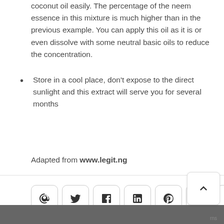coconut oil easily. The percentage of the neem essence in this mixture is much higher than in the previous example. You can apply this oil as it is or even dissolve with some neutral basic oils to reduce the concentration.
Store in a cool place, don't expose to the direct sunlight and this extract will serve you for several months
Adapted from www.legit.ng
[Figure (infographic): Social sharing icon bar with email (@), Twitter, Facebook, LinkedIn, Pinterest, WhatsApp, and Telegram icons in rounded square buttons]
[Figure (photo): Partial photo visible at bottom of page, dark/muted tones]